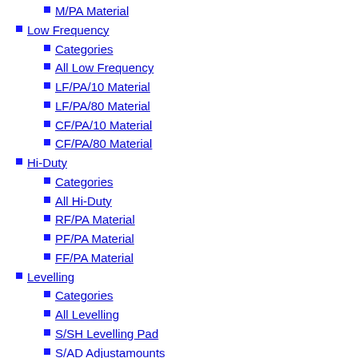M/PA Material
Low Frequency
Categories
All Low Frequency
LF/PA/10 Material
LF/PA/80 Material
CF/PA/10 Material
CF/PA/80 Material
Hi-Duty
Categories
All Hi-Duty
RF/PA Material
PF/PA Material
FF/PA Material
Levelling
Categories
All Levelling
S/SH Levelling Pad
S/AD Adjustamounts
Bolt Isolation
Categories
All Bolt Isolation
S/CO Collar
S/WA Washer
MS/WA Steel Washer